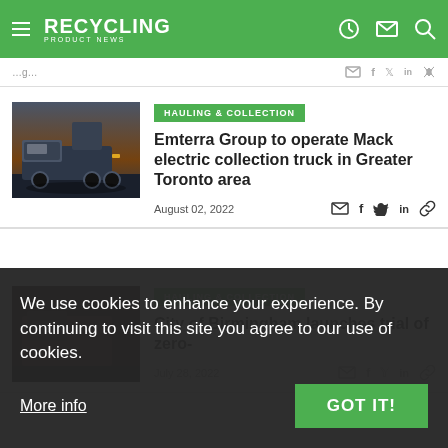RECYCLING PRODUCT NEWS
HAULING & COLLECTION
Emterra Group to operate Mack electric collection truck in Greater Toronto area
August 02, 2022
[Figure (photo): Electric collection truck (dark colored) photographed at dusk with dramatic sky background]
HAULING & COLLECTION
City of Birmingham launches trial of zero-
July 28, 2022
We use cookies to enhance your experience. By continuing to visit this site you agree to our use of cookies.
More info
GOT IT!